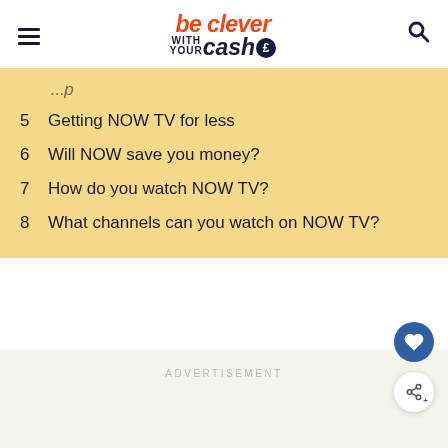be clever with your cash
5  Getting NOW TV for less
6  Will NOW save you money?
7  How do you watch NOW TV?
8  What channels can you watch on NOW TV?
ADVERTISEMENT